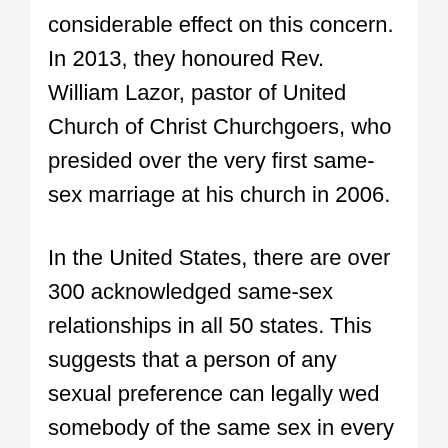considerable effect on this concern. In 2013, they honoured Rev. William Lazor, pastor of United Church of Christ Churchgoers, who presided over the very first same-sex marriage at his church in 2006.
In the United States, there are over 300 acknowledged same-sex relationships in all 50 states. This suggests that a person of any sexual preference can legally wed somebody of the same sex in every state. The legal process for marrying is made complex, and it might not be simpler for